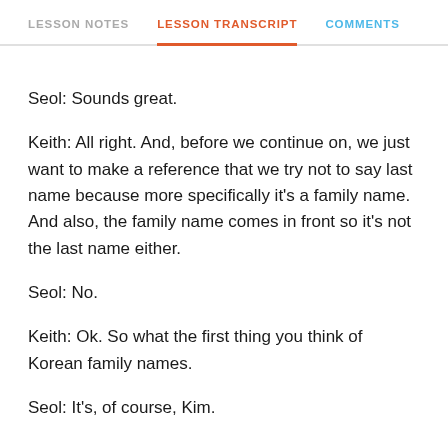LESSON NOTES   LESSON TRANSCRIPT   COMMENTS
Seol: Sounds great.
Keith: All right. And, before we continue on, we just want to make a reference that we try not to say last name because more specifically it's a family name. And also, the family name comes in front so it's not the last name either.
Seol: No.
Keith: Ok. So what the first thing you think of Korean family names.
Seol: It's, of course, Kim.